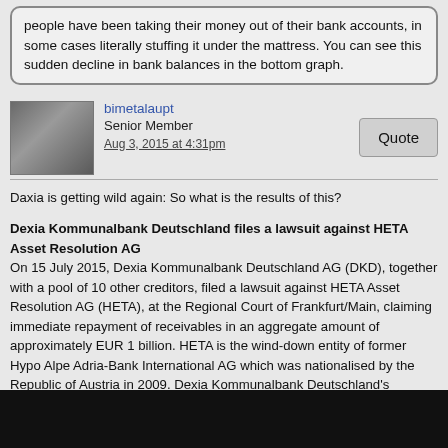people have been taking their money out of their bank accounts, in some cases literally stuffing it under the mattress. You can see this sudden decline in bank balances in the bottom graph.
bimetalaupt
Senior Member
Aug 3, 2015 at 4:31pm
Daxia is getting wild again: So what is the results of this?
Dexia Kommunalbank Deutschland files a lawsuit against HETA Asset Resolution AG
On 15 July 2015, Dexia Kommunalbank Deutschland AG (DKD), together with a pool of 10 other creditors, filed a lawsuit against HETA Asset Resolution AG (HETA), at the Regional Court of Frankfurt/Main, claiming immediate repayment of receivables in an aggregate amount of approximately EUR 1 billion. HETA is the wind-down entity of former Hypo Alpe Adria-Bank International AG which was nationalised by the Republic of Austria in 2009. Dexia Kommunalbank Deutschland's exposure to HETA amounts to EUR 395 million.
The creditors organized in the pool (banks, especially Pfandbrief banks, insurance companies, asset managers and public enterprises) hold bonds and debt certificates issued by HETA between 2002 and 2007. Besides HETA, the State of Carinthia and Kärntner Landesholding are liable for the